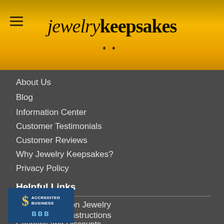jewelry keepsakes
About Us
Blog
Information Center
Customer Testimonials
Customer Reviews
Why Jewelry Keepsakes?
Privacy Policy
Helpful Links
Filling Cremation Jewelry
Jewelry Care Instructions
Coupons and Discounts
Displays
[Figure (logo): BBB Accredited Business badge with dollar sign symbol and blue background]